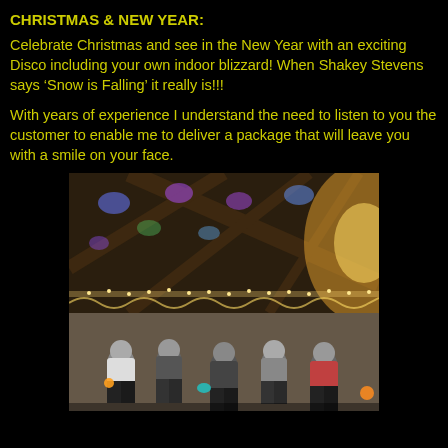CHRISTMAS & NEW YEAR:
Celebrate Christmas and see in the New Year with an exciting Disco including your own indoor blizzard! When Shakey Stevens says ‘Snow is Falling’ it really is!!!
With years of experience I understand the need to listen to you the customer to enable me to deliver a package that will leave you with a smile on your face.
[Figure (photo): Indoor disco/party scene in a decorated hall with wooden roof beams, fairy lights draped across the ceiling, coloured disco lights projected on the ceiling (blue, purple, green), and people dancing on the dance floor with glowing light accessories.]